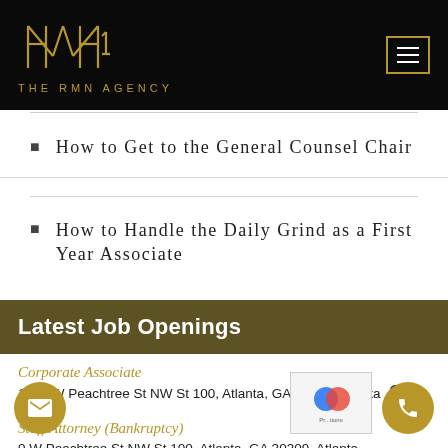[Figure (logo): The RMN Agency logo with geometric mark in gold on black background, with menu button in gold border top right]
How to Get to the General Counsel Chair
How to Handle the Daily Grind as a First Year Associate
Latest Job Openings
Corporate Associate
1430 W Peachtree St NW St 100, Atlanta, GA 30309, Atlanta
Staff Attorney (Bankruptcy)
0 W Peachtree St NW St 100, Atlanta, GA 30309, Atlanta